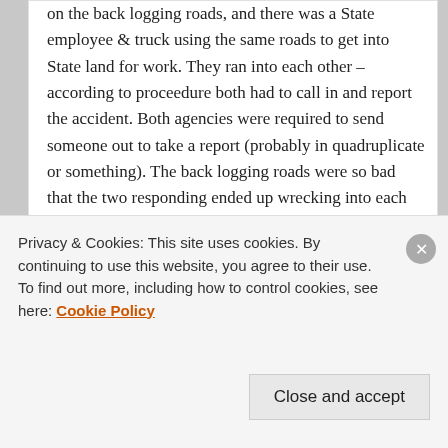on the back logging roads, and there was a State employee & truck using the same roads to get into State land for work. They ran into each other – according to proceedure both had to call in and report the accident. Both agencies were required to send someone out to take a report (probably in quadruplicate or something). The back logging roads were so bad that the two responding ended up wrecking into each other! Fortunately they were all traveling slow enough that there were no injuries. Does go to show just how darned difficult these 'spaghetti roads' can be to travel on.
Reply ↓
Privacy & Cookies: This site uses cookies. By continuing to use this website, you agree to their use.
To find out more, including how to control cookies, see here: Cookie Policy